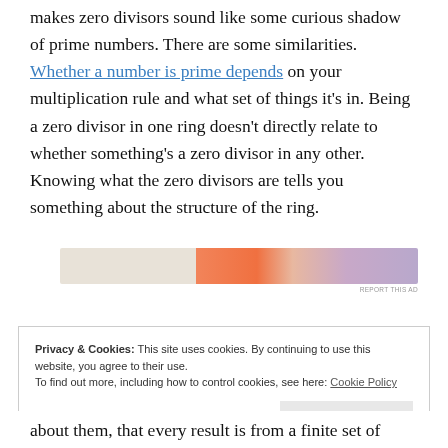makes zero divisors sound like some curious shadow of prime numbers. There are some similarities. Whether a number is prime depends on your multiplication rule and what set of things it's in. Being a zero divisor in one ring doesn't directly relate to whether something's a zero divisor in any other. Knowing what the zero divisors are tells you something about the structure of the ring.
[Figure (other): Advertisement banner with gradient colors from beige to orange to purple]
Privacy & Cookies: This site uses cookies. By continuing to use this website, you agree to their use. To find out more, including how to control cookies, see here: Cookie Policy
about them, that every result is from a finite set of